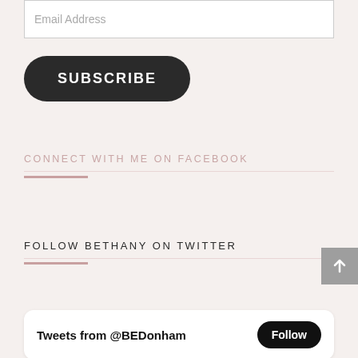Email Address
SUBSCRIBE
CONNECT WITH ME ON FACEBOOK
FOLLOW BETHANY ON TWITTER
Tweets from @BEDonham
Follow